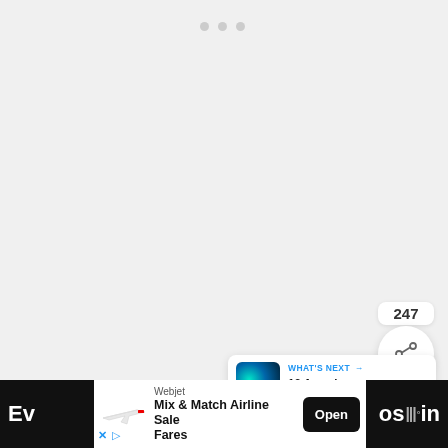[Figure (screenshot): Light grey empty content area with three grey dots at top center, suggesting a loading or carousel indicator]
[Figure (screenshot): Blue circular heart/like button with 247 likes count below it, and a white circular share button]
247
[Figure (infographic): What's Next panel with thumbnail of aurora borealis scene, label WHAT'S NEXT with arrow, and title '10 Amazing Airbnb...']
WHAT'S NEXT → 10 Amazing Airbnb...
[Figure (logo): Weather channel brand icon (stylized W with degree symbol) in grey]
[Figure (screenshot): Bottom advertisement banner: Webjet Mix & Match Airline Sale Fares with Open button, on dark background with partial page text visible]
Webjet
Mix & Match Airline Sale Fares
Open